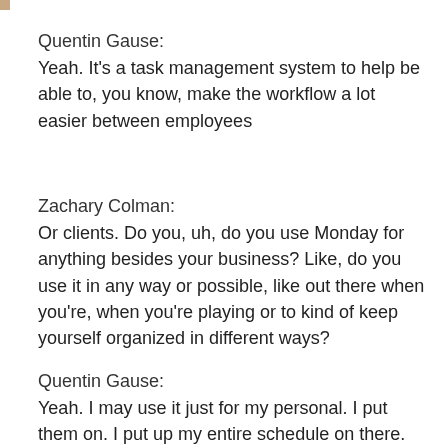Quentin Gause:
Yeah. It's a task management system to help be able to, you know, make the workflow a lot easier between employees
Zachary Colman:
Or clients. Do you, uh, do you use Monday for anything besides your business? Like, do you use it in any way or possible, like out there when you're, when you're playing or to kind of keep yourself organized in different ways?
Quentin Gause:
Yeah. I may use it just for my personal. I put them on. I put up my entire schedule on there.